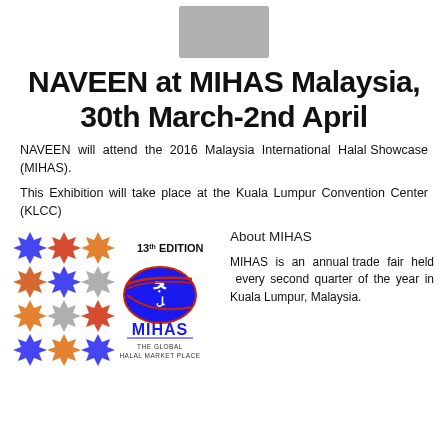[Figure (photo): Grey placeholder image at top center]
NAVEEN at MIHAS Malaysia, 30th March-2nd April
NAVEEN will attend the 2016 Malaysia International Halal Showcase (MIHAS).
This Exhibition will take place at the Kuala Lumpur Convention Center (KLCC)
[Figure (illustration): Left: Islamic geometric pattern tile in blue, red, orange, grey. Right: MIHAS 13th Edition logo with Arabic calligraphy and Malaysian flag motif, text MIHAS THE GLOBAL HALAL MARKET PLACE]
About MIHAS
MIHAS is an annual trade fair held every second quarter of the year in Kuala Lumpur, Malaysia.